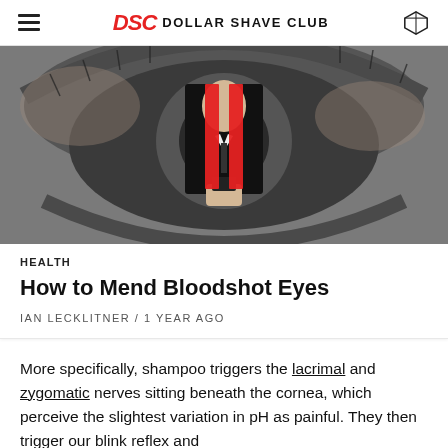Dollar Shave Club
[Figure (photo): Black and white close-up photo of a human eye with a man in a black suit holding a phone, overlaid with two vertical red bars across his face]
HEALTH
How to Mend Bloodshot Eyes
IAN LECKLITNER / 1 YEAR AGO
More specifically, shampoo triggers the lacrimal and zygomatic nerves sitting beneath the cornea, which perceive the slightest variation in pH as painful. They then trigger our blink reflex and